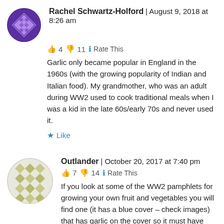Rachel Schwartz-Holford | August 9, 2018 at 8:26 am
👍 4 👎 11 ℹ Rate This
Garlic only became popular in England in the 1960s (with the growing popularity of Indian and Italian food). My grandmother, who was an adult during WW2 used to cook traditional meals when I was a kid in the late 60s/early 70s and never used it.
★ Like
Outlander | October 20, 2017 at 7:40 pm
👍 7 👎 14 ℹ Rate This
If you look at some of the WW2 pamphlets for growing your own fruit and vegetables you will find one (it has a blue cover – check images) that has garlic on the cover so it must have been in